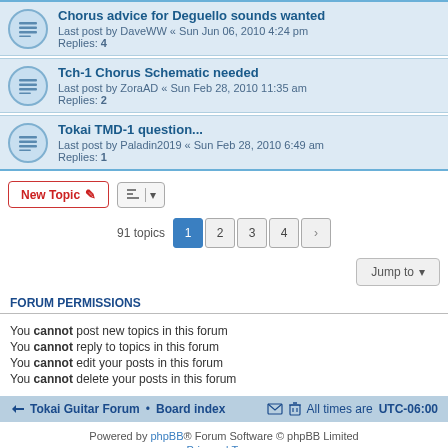Chorus advice for Deguello sounds wanted — Last post by DaveWW « Sun Jun 06, 2010 4:24 pm — Replies: 4
Tch-1 Chorus Schematic needed — Last post by ZoraAD « Sun Feb 28, 2010 11:35 am — Replies: 2
Tokai TMD-1 question... — Last post by Paladin2019 « Sun Feb 28, 2010 6:49 am — Replies: 1
New Topic | Sort | 91 topics | Pages: 1 2 3 4 >
Jump to
FORUM PERMISSIONS
You cannot post new topics in this forum
You cannot reply to topics in this forum
You cannot edit your posts in this forum
You cannot delete your posts in this forum
Tokai Guitar Forum • Board index | All times are UTC-06:00
Powered by phpBB® Forum Software © phpBB Limited
Privacy | Terms